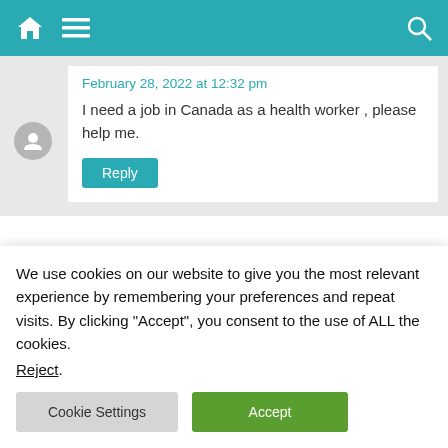Navigation bar with home icon, menu icon, and search icon
February 28, 2022 at 12:32 pm
I need a job in Canada as a health worker , please help me.
Reply
Blango Joseph
We use cookies on our website to give you the most relevant experience by remembering your preferences and repeat visits. By clicking “Accept”, you consent to the use of ALL the cookies.
Reject.
Cookie Settings
Accept